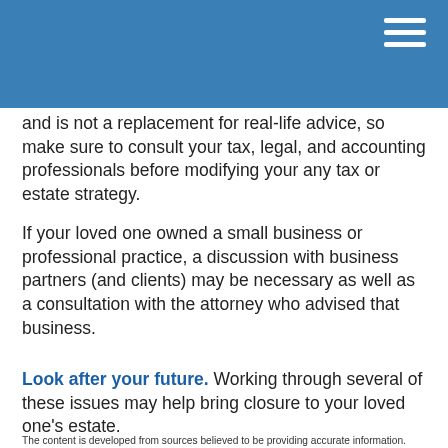and is not a replacement for real-life advice, so make sure to consult your tax, legal, and accounting professionals before modifying your any tax or estate strategy.
If your loved one owned a small business or professional practice, a discussion with business partners (and clients) may be necessary as well as a consultation with the attorney who advised that business.
Look after your future. Working through several of these issues may help bring closure to your loved one’s estate.
The content is developed from sources believed to be providing accurate information. The information in this material is not intended as tax or legal advice. It may not be used for the purpose of avoiding any federal tax penalties. Please consult legal or tax professionals for specific information regarding your individual situation. This material was developed and produced by FMG Suite to provide information on a topic that may be of interest. FMG, LLC, is not affiliated with the named broker-dealer, state- or SEC-registered investment advisory firm. The opinions expressed and material provided are for general information, and should not be considered a solicitation for the purchase or sale of any security. Copyright 2020 FMG Suite.